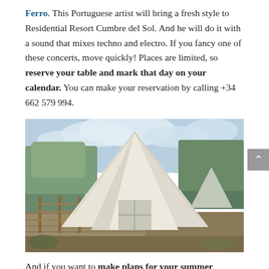Ferro. This Portuguese artist will bring a fresh style to Residential Resort Cumbre del Sol. And he will do it with a sound that mixes techno and electro. If you fancy one of these concerts, move quickly! Places are limited, so reserve your table and mark that day on your calendar. You can make your reservation by calling +34 662 579 994.
[Figure (photo): Outdoor photo of a large white bell tent on a wooden deck platform, with trees and another smaller tent visible in the background, under a partly cloudy sky.]
And if you want to make plans for your summer